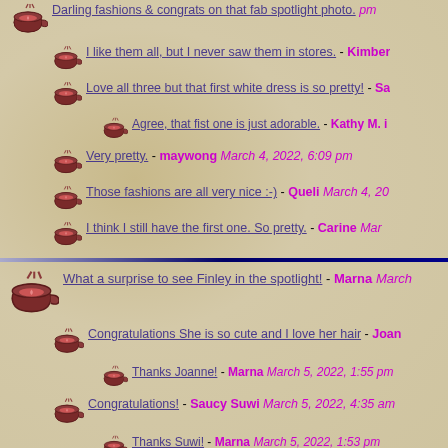Darling fashions & congrats on that fab spotlight photo. - [author] [timestamp] pm
I like them all, but I never saw them in stores. - Kimber
Love all three but that first white dress is so pretty! - Sa
Agree, that fist one is just adorable. - Kathy M. i
Very pretty. - maywong March 4, 2022, 6:09 pm
Those fashions are all very nice :-) - Queli March 4, 20
I think I still have the first one. So pretty. - Carine Mar
What a surprise to see Finley in the spotlight! - Marna March
Congratulations She is so cute and I love her hair - Joan
Thanks Joanne! - Marna March 5, 2022, 1:55 pm
Congratulations! - Saucy Suwi March 5, 2022, 4:35 am
Thanks Suwi! - Marna March 5, 2022, 1:53 pm
Congratulations, Marna! Finley is made for spotlights :c